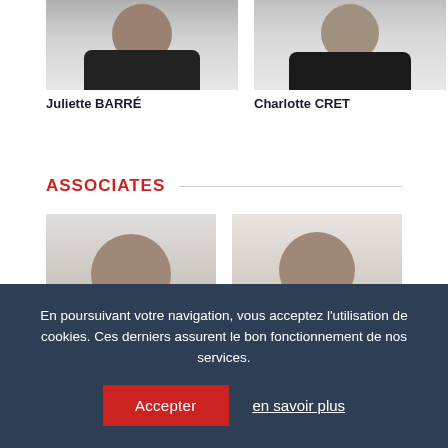[Figure (photo): Portrait photo of Juliette BARRÉ, woman with long dark hair, white top and dark jacket]
Juliette BARRÉ
[Figure (photo): Portrait photo of Charlotte CRET, woman in dark blazer with light necklace]
Charlotte CRET
ASSOCIATES
[Figure (photo): Portrait photo of an associate, woman with medium brown hair, smiling, light top]
[Figure (photo): Portrait photo of an associate, woman with medium brown hair]
En poursuivant votre navigation, vous acceptez l'utilisation de cookies. Ces derniers assurent le bon fonctionnement de nos services.
Accepter
en savoir plus